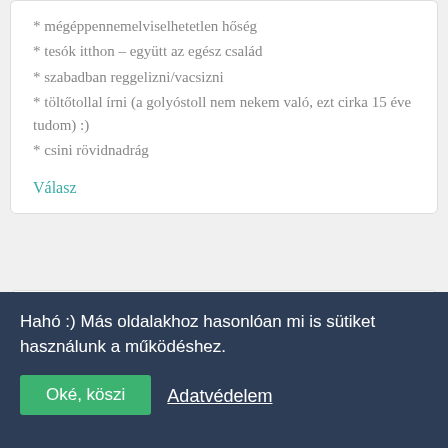* mégéppennemelviselhetetlen hőség
* tesók itthon – együtt az egész család
* szabadban reggelizni/vacsizni
* töltőtollal írni (a golyóstoll nem nekem való, ezt cirka 15 éve tudom) :)
* csini rövidnadrág
Válasz
Kivi mondta
2013. JÚLIUS 11. CSÜTÖRTÖK, 22:00
Hahó :) Más oldalakhoz hasonlóan mi is sütiket használunk a működéshez.
Oké, köszi
Adatvédelem